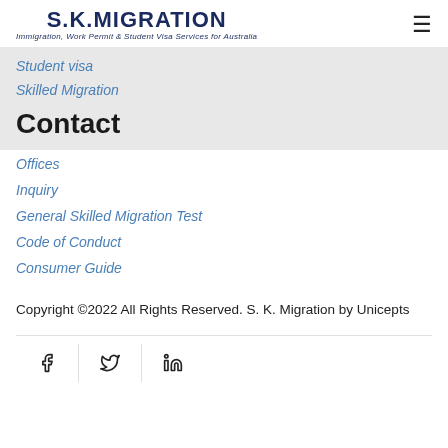[Figure (logo): S.K. Migration logo with subtitle: Immigration, Work Permit & Student Visa Services for Australia]
Student visa
Skilled Migration
Contact
Offices
Inquiry
General Skilled Migration Test
Code of Conduct
Consumer Guide
Copyright ©2022 All Rights Reserved. S. K. Migration by Unicepts
[Figure (infographic): Social media icons: Facebook, Twitter, LinkedIn]